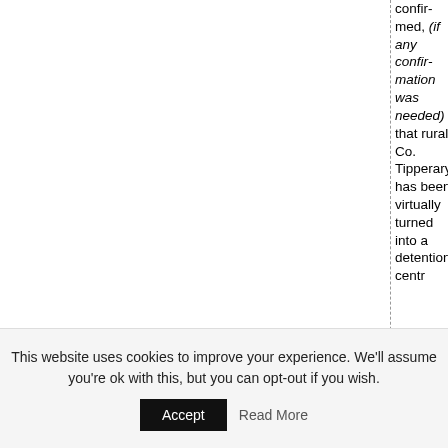confirmed, (if any confirmation was needed) that rural Co. Tipperary has been virtually turned into a detention centr
This website uses cookies to improve your experience. We'll assume you're ok with this, but you can opt-out if you wish.